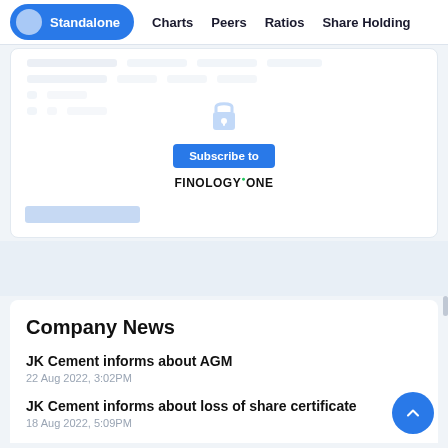Standalone  Charts  Peers  Ratios  Share Holding
[Figure (screenshot): Locked/blurred financial data table with a padlock icon overlay, a 'Subscribe to' button, and the FINOLOGY ONE logo]
Company News
JK Cement informs about AGM
22 Aug 2022, 3:02PM
JK Cement informs about loss of share certificate
18 Aug 2022, 5:09PM